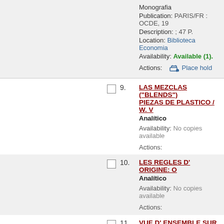Monografia
Publication: PARIS/FR : OCDE, 19...
Description: ; 47 P.
Location: Biblioteca Economia
Availability: Available (1).
Actions: Place hold
9. LAS MEZCLAS ("BLENDS") PIEZAS DE PLASTICO / W. ... — Analitico — Availability: No copies available — Actions:
10. LES REGLES D' ORIGINE: O... — Analitico — Availability: No copies available — Actions:
11. VUE D' ENSEMBLE SUR L'... — Analitico — Availability: No copies available — Actions:
12. ADAPTATION DES STRUCT...